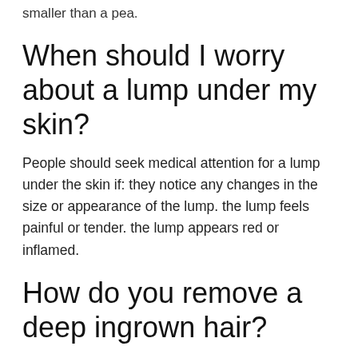smaller than a pea.
When should I worry about a lump under my skin?
People should seek medical attention for a lump under the skin if: they notice any changes in the size or appearance of the lump. the lump feels painful or tender. the lump appears red or inflamed.
How do you remove a deep ingrown hair?
To remove an ingrown hair safely:
1. Wash the area with mild soap and warm water.